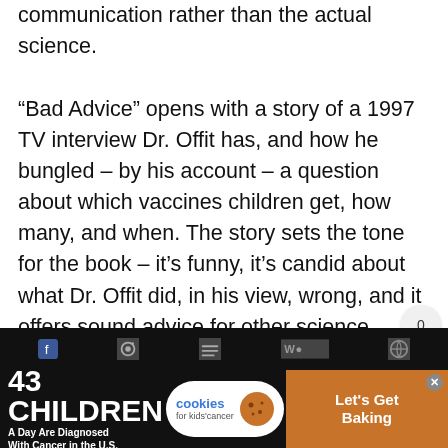communication rather than the actual science.

“Bad Advice” opens with a story of a 1997 TV interview Dr. Offit has, and how he bungled – by his account – a question about which vaccines children get, how many, and when. The story sets the tone for the book – it’s funny, it’s candid about what Dr. Offit did, in his view, wrong, and it offers sound advice for other science
[Figure (other): Share button UI element showing count 0 and share icon]
[Figure (infographic): Advertisement banner: '43 CHILDREN A Day Are Diagnosed With Cancer in the U.S.' with cookies for kids' cancer logo and 'Let's Get Baking' call to action]